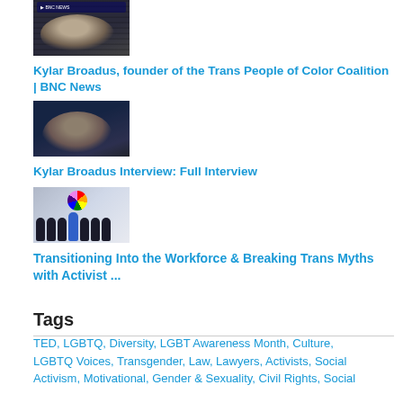[Figure (photo): Video thumbnail showing a person in dark setting, partial view]
Kylar Broadus, founder of the Trans People of Color Coalition | BNC News
[Figure (photo): Video thumbnail showing Kylar Broadus in a video interview setting]
Kylar Broadus Interview: Full Interview
[Figure (illustration): Illustration of silhouette figures with a person holding a rainbow ball above, representing LGBTQ diversity]
Transitioning Into the Workforce & Breaking Trans Myths with Activist ...
Tags
TED, LGBTQ, Diversity, LGBT Awareness Month, Culture, LGBTQ Voices, Transgender, Law, Lawyers, Activists, Social Activism, Motivational, Gender & Sexuality, Civil Rights, Social